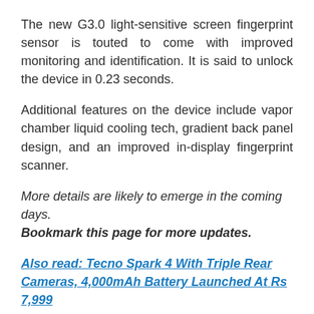The new G3.0 light-sensitive screen fingerprint sensor is touted to come with improved monitoring and identification. It is said to unlock the device in 0.23 seconds.
Additional features on the device include vapor chamber liquid cooling tech, gradient back panel design, and an improved in-display fingerprint scanner.
More details are likely to emerge in the coming days. Bookmark this page for more updates.
Also read: Tecno Spark 4 With Triple Rear Cameras, 4,000mAh Battery Launched At Rs 7,999
Realme X2
The Realme X2 is priced in China at CNY 1,599 (approx Rs 15,900) for the 6GB RAM/ 64GB storage variant. The 8GB RAM/ 128GB storage model costs CNY 1,899 (approx Rs 18,900)